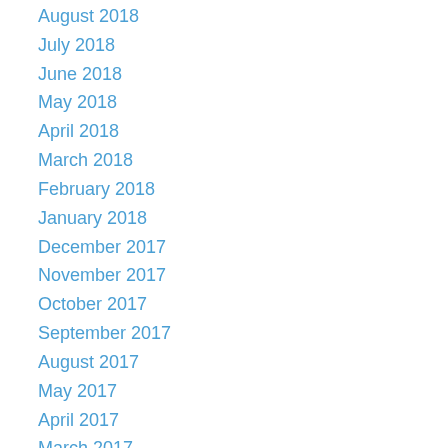August 2018
July 2018
June 2018
May 2018
April 2018
March 2018
February 2018
January 2018
December 2017
November 2017
October 2017
September 2017
August 2017
May 2017
April 2017
March 2017
February 2017
January 2017
December 2016
November 2016